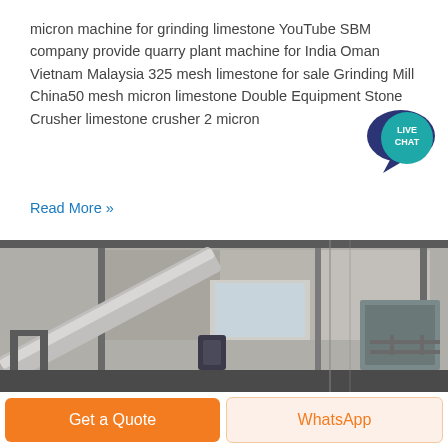micron machine for grinding limestone YouTube SBM company provide quarry plant machine for India Oman Vietnam Malaysia 325 mesh limestone for sale Grinding Mill China50 mesh micron limestone Double Equipment Stone Crusher limestone crusher 2 micron
Read More »
[Figure (photo): Industrial machinery inside a factory or plant — shows a large conveyor or auger apparatus angled upward, metal structural frames, concrete walls, and industrial equipment in background.]
Get a Quote
WhatsApp